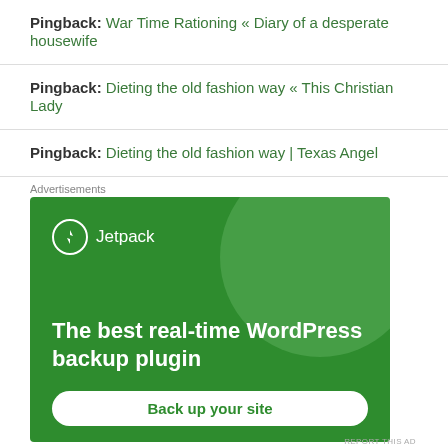Pingback: War Time Rationing « Diary of a desperate housewife
Pingback: Dieting the old fashion way « This Christian Lady
Pingback: Dieting the old fashion way | Texas Angel
Advertisements
[Figure (screenshot): Jetpack WordPress backup plugin advertisement. Green background with circular decoration, Jetpack logo, headline 'The best real-time WordPress backup plugin', and 'Back up your site' button.]